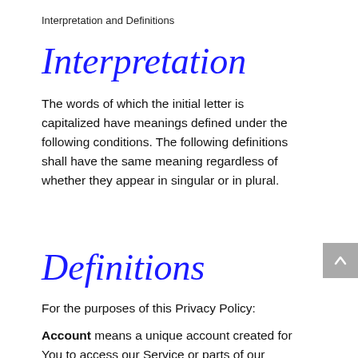Interpretation and Definitions
Interpretation
The words of which the initial letter is capitalized have meanings defined under the following conditions. The following definitions shall have the same meaning regardless of whether they appear in singular or in plural.
Definitions
For the purposes of this Privacy Policy:
Account means a unique account created for You to access our Service or parts of our Service.